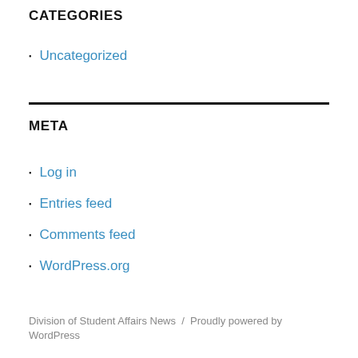CATEGORIES
Uncategorized
META
Log in
Entries feed
Comments feed
WordPress.org
Division of Student Affairs News / Proudly powered by WordPress